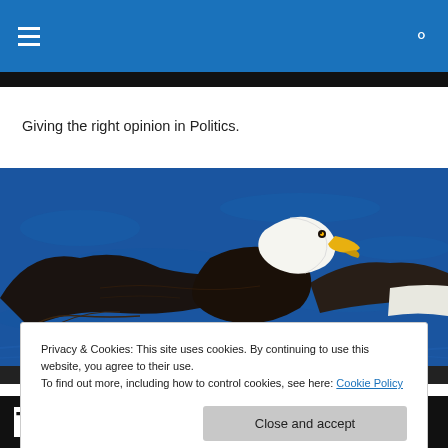Navigation bar with hamburger menu and search icon
Giving the right opinion in Politics.
[Figure (photo): Bald eagle in flight over blue water, wings spread wide, white head and tail visible against dark body feathers]
Privacy & Cookies: This site uses cookies. By continuing to use this website, you agree to their use.
To find out more, including how to control cookies, see here: Cookie Policy
Close and accept
Threatens To Close The